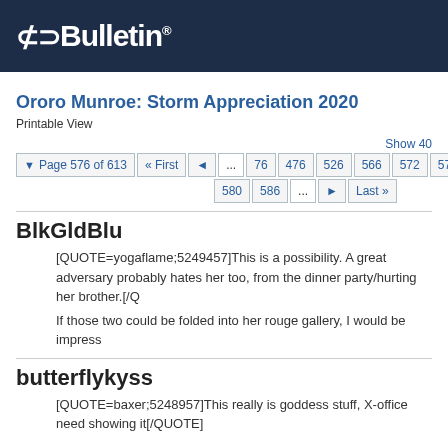vBulletin
Ororo Munroe: Storm Appreciation 2020
Printable View
Show 40
Page 576 of 613  First  ...  76  476  526  566  572  573  574  580  586  ...  Last
BlkGldBlu
[QUOTE=yogaflame;5249457]This is a possibility. A great adversary probably hates her too, from the dinner party/hurting her brother.[/Q
If those two could be folded into her rouge gallery, I would be impress
butterflykyss
[QUOTE=baxer;5248957]This really is goddess stuff, X-office need showing it[/QUOTE]